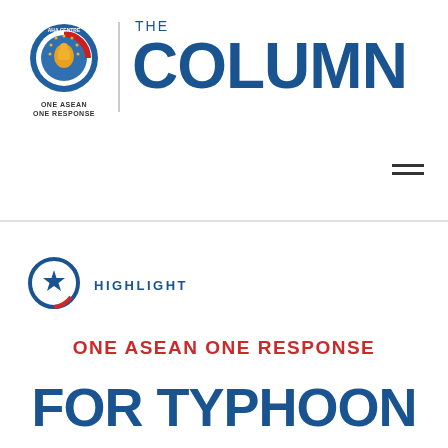[Figure (logo): AHA Centre logo — circular emblem with ASEAN symbol, text 'ONE ASEAN ONE RESPONSE' below]
THE COLUMN
[Figure (logo): Circular icon with blue ring, red arc, and blue star in center — Highlight section marker]
HIGHLIGHT
ONE ASEAN ONE RESPONSE
FOR TYPHOON